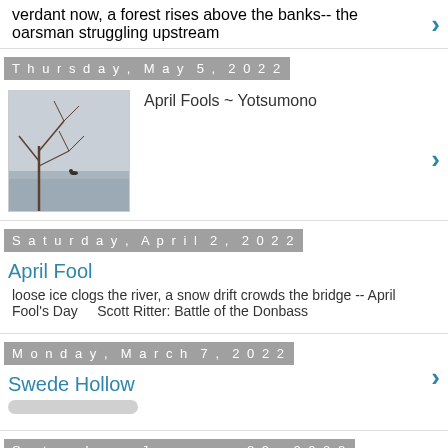verdant now, a forest rises above the banks-- the oarsman struggling upstream
Thursday, May 5, 2022
April Fools ~ Yotsumono
Saturday, April 2, 2022
April Fool
loose ice clogs the river, a snow drift crowds the bridge -- April Fool's Day    Scott Ritter: Battle of the Donbass
Monday, March 7, 2022
Swede Hollow
Saturday, January 29, 2022